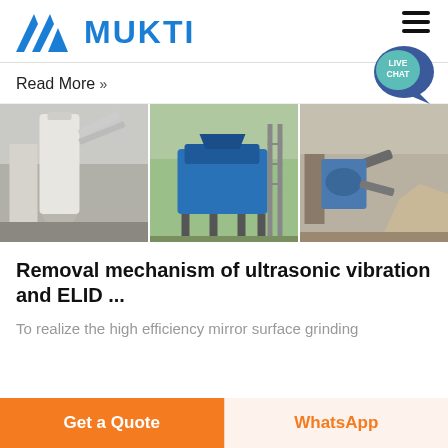MUKTI
Read More »
[Figure (photo): Three industrial machinery photos side by side: left shows dust collection/grinding mill equipment (white metal structure with pipes), center shows blue industrial sand-making or vibrating screen machine on a construction site, right shows a crushing/screening plant with conveyor belts and aggregate piles.]
Removal mechanism of ultrasonic vibration and ELID ...
To realize the high efficiency mirror surface grinding
Get a Quote
WhatsApp